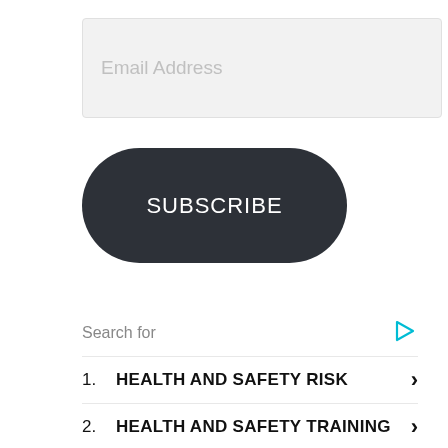Email Address
SUBSCRIBE
Search for
1. HEALTH AND SAFETY RISK
2. HEALTH AND SAFETY TRAINING
Yahoo! Search | Sponsored